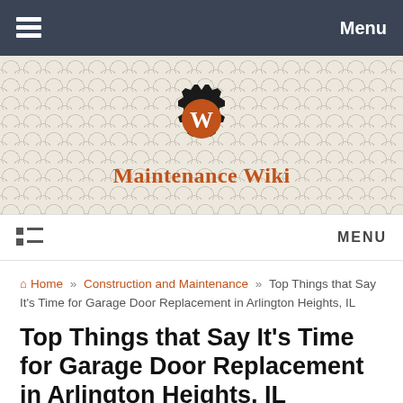Menu
[Figure (logo): Maintenance Wiki logo: gear icon with orange circle and white W, above text 'Maintenance Wiki' in orange serif font]
MENU
Home » Construction and Maintenance » Top Things that Say It's Time for Garage Door Replacement in Arlington Heights, IL
Top Things that Say It's Time for Garage Door Replacement in Arlington Heights, IL
karrie gover  June 22, 2017  Construction and